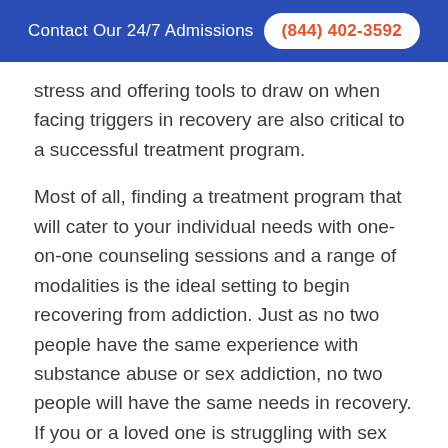Contact Our 24/7 Admissions  (844) 402-3592
stress and offering tools to draw on when facing triggers in recovery are also critical to a successful treatment program.
Most of all, finding a treatment program that will cater to your individual needs with one-on-one counseling sessions and a range of modalities is the ideal setting to begin recovering from addiction. Just as no two people have the same experience with substance abuse or sex addiction, no two people will have the same needs in recovery. If you or a loved one is struggling with sex addiction, substance abuse or both, reach out